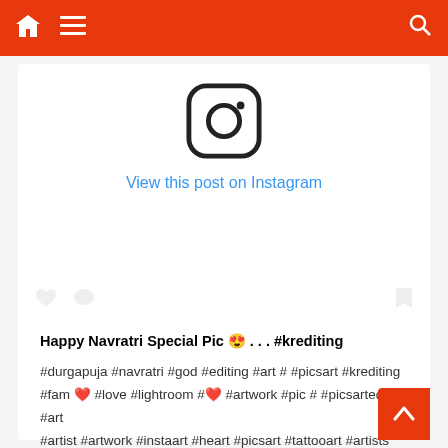Navigation bar with home, menu, and search icons
[Figure (logo): Instagram logo icon (rounded square with camera outline)]
View this post on Instagram
Happy Navratri Special Pic 😍 . . . #krediting
#durgapuja #navratri #god #editing #art # #picsart #krediting
#fam ❤ #love #lightroom #❤ #artwork #pic # #picsartedit #art
#artist #artwork #instaart #heart #picsart #tattooart #artists